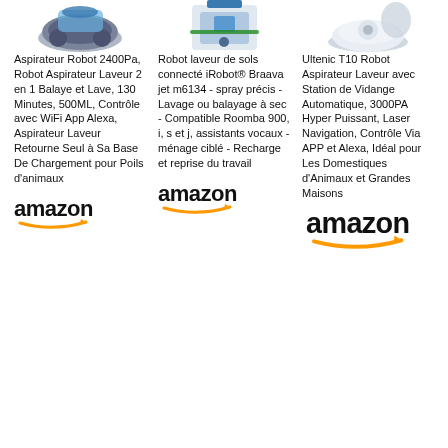[Figure (photo): Robot vacuum cleaner product image (top cropped), column 1]
[Figure (photo): iRobot Braava jet m6134 product image (top cropped), column 2]
[Figure (photo): Ultenic T10 robot vacuum product image (top cropped), column 3]
Aspirateur Robot 2400Pa, Robot Aspirateur Laveur 2 en 1 Balaye et Lave, 130 Minutes, 500ML, Contrôle avec WiFi App Alexa, Aspirateur Laveur Retourne Seul à Sa Base De Chargement pour Poils d'animaux
[Figure (logo): Amazon logo with orange arrow, column 1]
Robot laveur de sols connecté iRobot® Braava jet m6134 - spray précis - Lavage ou balayage à sec - Compatible Roomba 900, i, s et j, assistants vocaux - ménage ciblé - Recharge et reprise du travail
[Figure (logo): Amazon logo with orange arrow, column 2]
Ultenic T10 Robot Aspirateur Laveur avec Station de Vidange Automatique, 3000PA Hyper Puissant, Laser Navigation, Contrôle Via APP et Alexa, Idéal pour Les Domestiques d'Animaux et Grandes Maisons
[Figure (logo): Amazon logo with orange arrow, column 3]